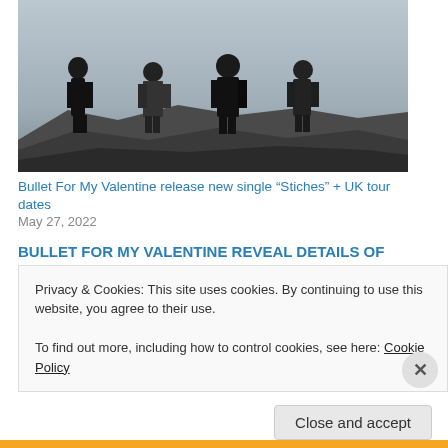[Figure (photo): Black and white photo of four band members (Bullet For My Valentine) standing on rocks against a sky backdrop]
Bullet For My Valentine release new single “Stiches” + UK tour dates
May 27, 2022
BULLET FOR MY VALENTINE REVEAL DETAILS OF BRAND NEW ALBUM + FIRST SINGLE/VIDEO, “KNIVES”
Today, Bullet For My Valentine announce their self-titled, seventh album Bullet For My Valentine. The record will be released on October
Privacy & Cookies: This site uses cookies. By continuing to use this website, you agree to their use.
To find out more, including how to control cookies, see here: Cookie Policy